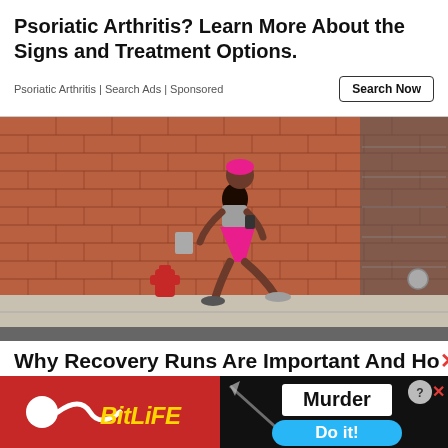Psoriatic Arthritis? Learn More About the Signs and Treatment Options.
Psoriatic Arthritis | Search Ads | Sponsored
[Figure (photo): Woman in pink shorts and headphones running past a red brick wall, with a red fire hydrant in the background. She is on a sidewalk, mid-stride.]
Why Recovery Runs Are Important And Ho
[Figure (other): BitLife mobile game advertisement with red background, sperm logo, and yellow italic text 'BitLiFE']
[Figure (other): Murder game ad with dark background showing 'Murder' text, 'Do it!' button in blue, knife graphic, and close/help buttons]